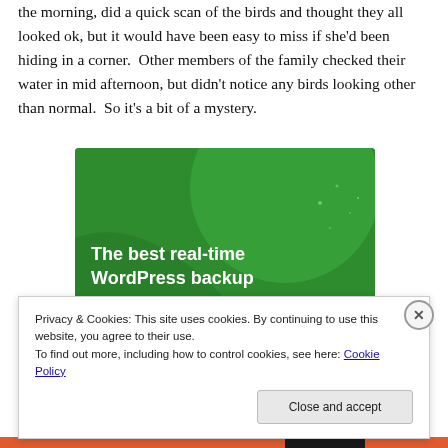the morning, did a quick scan of the birds and thought they all looked ok, but it would have been easy to miss if she'd been hiding in a corner.  Other members of the family checked their water in mid afternoon, but didn't notice any birds looking other than normal.  So it's a bit of a mystery.
[Figure (illustration): Green advertisement banner for WordPress backup plugin with text: The best real-time WordPress backup plugin]
Privacy & Cookies: This site uses cookies. By continuing to use this website, you agree to their use.
To find out more, including how to control cookies, see here: Cookie Policy
Close and accept